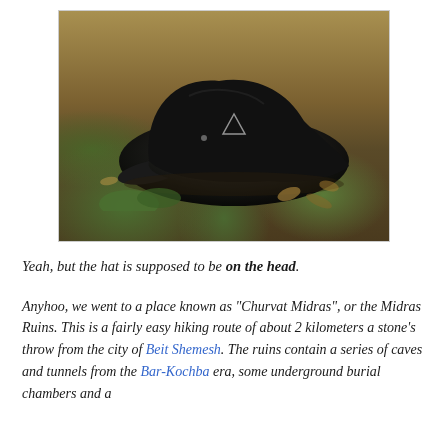[Figure (photo): A black cap/hat lying on the ground among fallen leaves and some green plants. The hat is dark/black with a small triangular logo on it.]
Yeah, but the hat is supposed to be on the head.
Anyhoo, we went to a place known as "Churvat Midras", or the Midras Ruins. This is a fairly easy hiking route of about 2 kilometers a stone's throw from the city of Beit Shemesh. The ruins contain a series of caves and tunnels from the Bar-Kochba era, some underground burial chambers and a